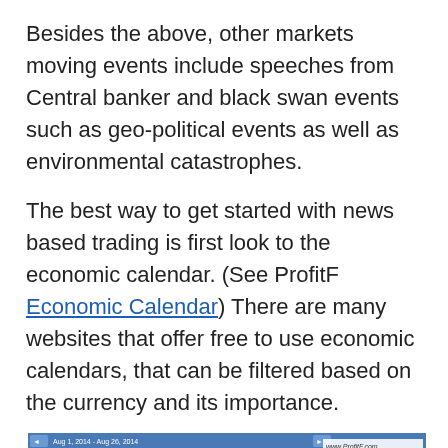Besides the above, other markets moving events include speeches from Central banker and black swan events such as geo-political events as well as environmental catastrophes.
The best way to get started with news based trading is first look to the economic calendar. (See ProfitF Economic Calendar) There are many websites that offer free to use economic calendars, that can be filtered based on the currency and its importance.
[Figure (screenshot): Screenshot of a filtered economic calendar for USD showing Aug 1, 2014 - Aug 26, 2014. Rows include: Non-Farm Employment Change (Actual: 209K, Forecast: 231K, Previous: 298K+), Unemployment Rate (Actual: 6.2%, Forecast: 6.1%, Previous: 6.1%), ISM Manufacturing PMI (Actual: 57.1, Forecast: 56.1, Previous: 55.3). Watermark: www.ProfitF.com]
The chart above shows a filtered economic calendar for the US Dollar. Here we see the all important monthly labor market data, NFP being